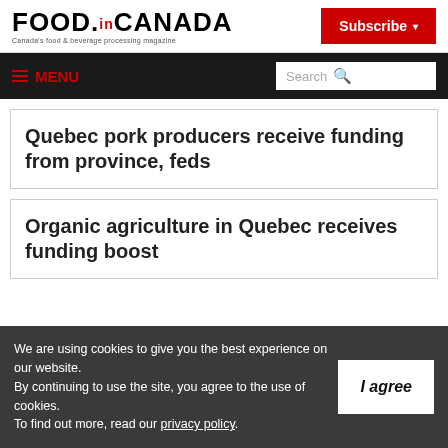FOOD.CANADA — Canada's food & beverage processing magazine
Quebec pork producers receive funding from province, feds
Organic agriculture in Quebec receives funding boost
We are using cookies to give you the best experience on our website. By continuing to use the site, you agree to the use of cookies. To find out more, read our privacy policy.